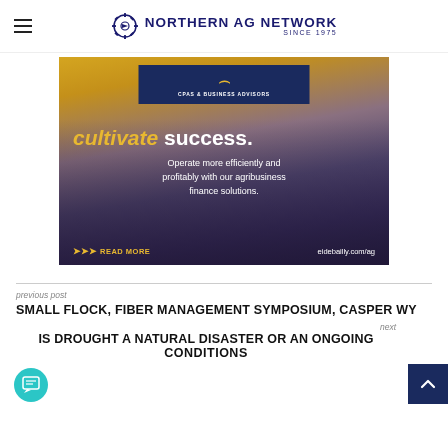Northern AG Network Since 1975
[Figure (advertisement): Eide Bailly CPAs & Business Advisors agribusiness finance solutions ad. Text: cultivate success. Operate more efficiently and profitably with our agribusiness finance solutions. READ MORE eidebailly.com/ag]
previous post
SMALL FLOCK, FIBER MANAGEMENT SYMPOSIUM, CASPER WY
next
IS DROUGHT A NATURAL DISASTER OR AN ONGOING CONDITIONS